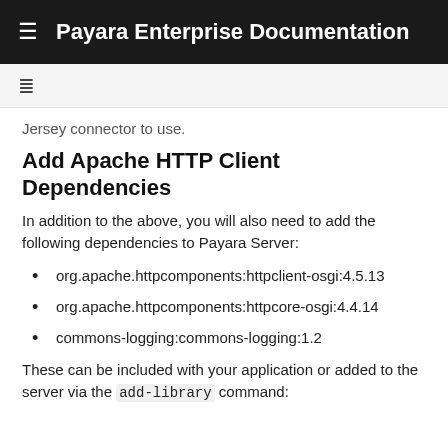Payara Enterprise Documentation
Jersey connector to use.
Add Apache HTTP Client Dependencies
In addition to the above, you will also need to add the following dependencies to Payara Server:
org.apache.httpcomponents:httpclient-osgi:4.5.13
org.apache.httpcomponents:httpcore-osgi:4.4.14
commons-logging:commons-logging:1.2
These can be included with your application or added to the server via the add-library command: